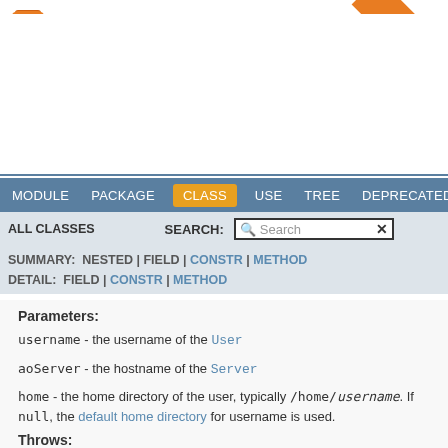[Figure (logo): AOServ orange shield logo icon]
AOServ / Client
Java client for the AOServ Platform.
Project Links
Project Home
Changelog
API Docs
Maven Central Repository
GitHub
Contact Us
For questions or support, please contact
Email: support@aoindustries.com
Phone: 1-800-519-9541
Phone: +1-251-607-9556
Web: https://aoindustries.com/contact
[Figure (other): Fork me on GitHub orange ribbon banner in top-right corner]
MODULE  PACKAGE  CLASS  USE  TREE  DEPRECATED  INDEX
ALL CLASSES   SEARCH:
SUMMARY: NESTED | FIELD | CONSTR | METHOD
DETAIL: FIELD | CONSTR | METHOD
Parameters:
username - the username of the User
aoServer - the hostname of the Server
home - the home directory of the user, typically /home/username. If null, the default home directory for username is used.
Throws:
IOException - if unable to contact the server